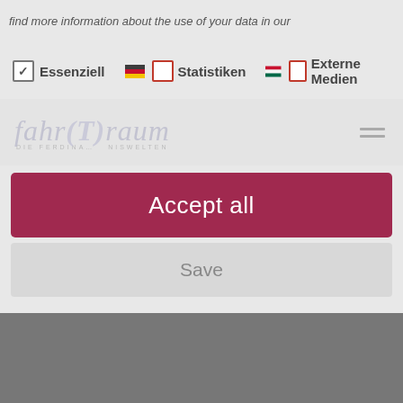find more information about the use of your data in our
[Figure (screenshot): Cookie consent dialog showing checkboxes for Essenziell, Statistiken, Externe Medien with German flags, fahr(T)raum website logo partially visible, Accept all button in dark red/crimson, and Save button below on gray background]
Essenziell
Statistiken
Externe Medien
Accept all
Save